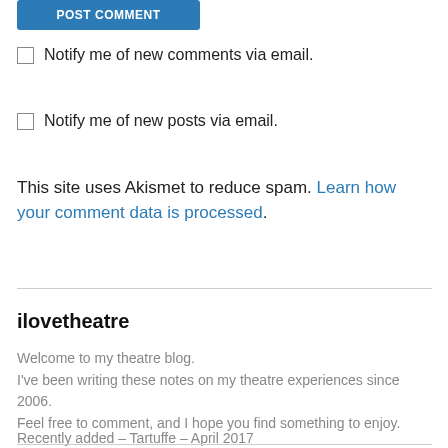[Figure (other): POST COMMENT blue button (partially cropped at top)]
Notify me of new comments via email.
Notify me of new posts via email.
This site uses Akismet to reduce spam. Learn how your comment data is processed.
ilovetheatre
Welcome to my theatre blog.
I've been writing these notes on my theatre experiences since 2006.
Feel free to comment, and I hope you find something to enjoy.
Recently added – Tartuffe – April 2017